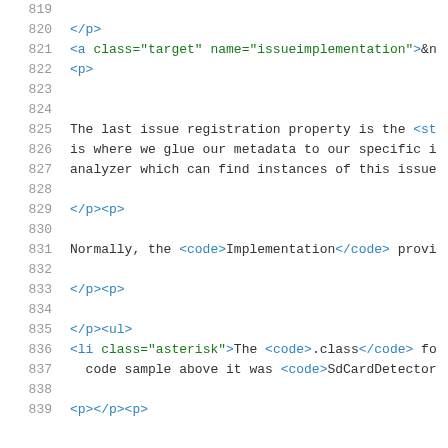[Figure (screenshot): Code editor view showing HTML source lines 819-839 with line numbers, blue HTML tags, green attribute names and values, and black text content.]